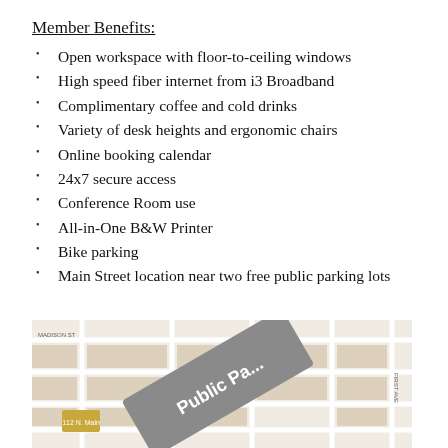Member Benefits:
Open workspace with floor-to-ceiling windows
High speed fiber internet from i3 Broadband
Complimentary coffee and cold drinks
Variety of desk heights and ergonomic chairs
Online booking calendar
24x7 secure access
Conference Room use
All-in-One B&W Printer
Bike parking
Main Street location near two free public parking lots
[Figure (map): Street map showing downtown area with 'Public Parking' label visible, streets grid with building footprints, a yellow/gold building marker for 112 N. Main, and street labels including Madison St and First Ave.]